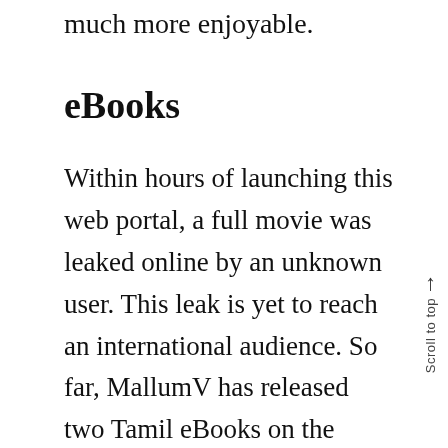much more enjoyable.
eBooks
Within hours of launching this web portal, a full movie was leaked online by an unknown user. This leak is yet to reach an international audience. So far, MallumV has released two Tamil eBooks on the subject which can be downloaded free of cost.
All three eBooks are packed with valuable information that can be used to make the learning process much easier for non-Tamil